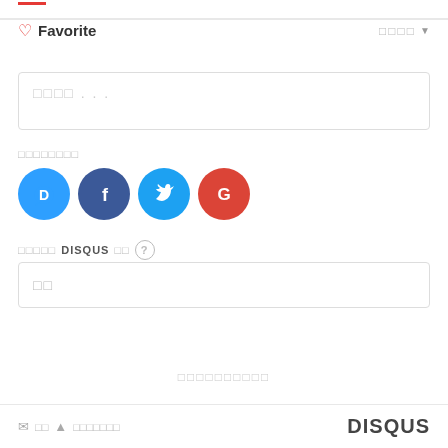Favorite
□□□□ ▼
[Figure (screenshot): Comment text input box with placeholder text in Korean characters]
□□□□□□□□
[Figure (other): Social login icons: Disqus (blue), Facebook (dark blue), Twitter (light blue), Google (red)]
□□□□□ DISQUS □□ ?
[Figure (screenshot): Name input box with placeholder characters]
□□□□□□□□□□
✉ □□ ▲ □□□□□□□   DISQUS